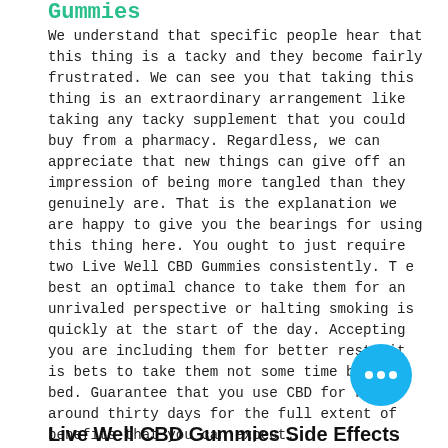Gummies
We understand that specific people hear that this thing is a tacky and they become fairly frustrated. We can see you that taking this thing is an extraordinary arrangement like taking any tacky supplement that you could buy from a pharmacy. Regardless, we can appreciate that new things can give off an impression of being more tangled than they genuinely are. That is the explanation we are happy to give you the bearings for using this thing here. You ought to just require two Live Well CBD Gummies consistently. T e best an optimal chance to take them for an unrivaled perspective or halting smoking is quickly at the start of the day. Accepting you are including them for better rest, it is bets to take them not some time before bed. Guarantee that you use CBD for right around thirty days for the full extent of benefits that you can expect.
Live Well CBD Gummies Side Effects